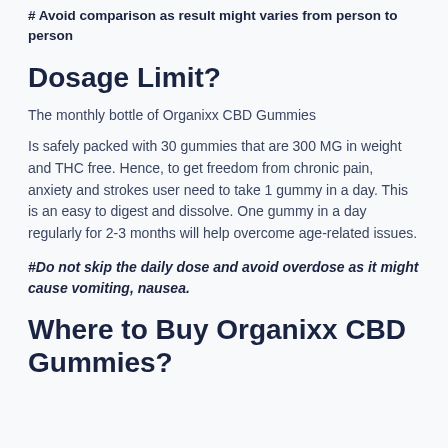# Avoid comparison as result might varies from person to person
Dosage Limit?
The monthly bottle of Organixx CBD Gummies
Is safely packed with 30 gummies that are 300 MG in weight and THC free. Hence, to get freedom from chronic pain, anxiety and strokes user need to take 1 gummy in a day. This is an easy to digest and dissolve. One gummy in a day regularly for 2-3 months will help overcome age-related issues.
#Do not skip the daily dose and avoid overdose as it might cause vomiting, nausea.
Where to Buy Organixx CBD Gummies?